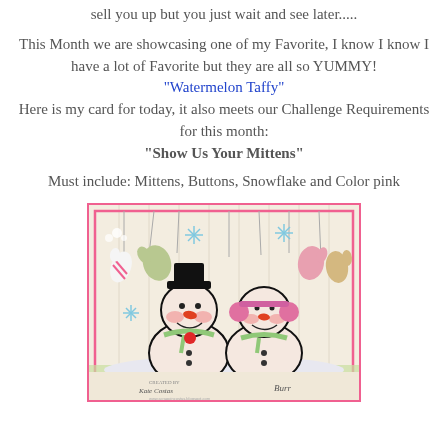sell you up but you just wait and see later.....
This Month we are showcasing one of my Favorite, I know I know I have a lot of Favorite but they are all so YUMMY! "Watermelon Taffy" Here is my card for today, it also meets our Challenge Requirements for this month: "Show Us Your Mittens"
Must include: Mittens, Buttons, Snowflake and Color pink
[Figure (photo): A handmade greeting card featuring two cute snowman characters with pink cheeks, mittens hanging from strings, snowflakes, and a pink border. Signed 'CREATED BY Kate Costas' and 'Burr'.]